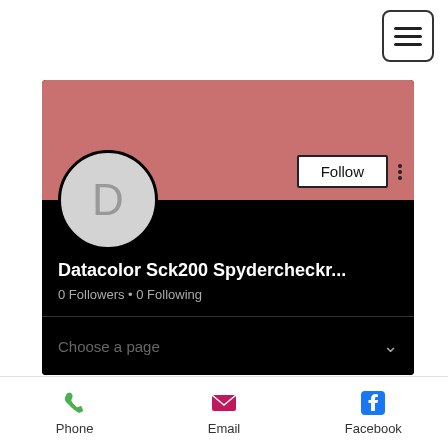[Figure (screenshot): Hamburger menu button icon (three horizontal bars) in top-right corner, with rounded border]
[Figure (screenshot): Social media profile card on black background with salmon/rose cover photo, circular avatar with letter D, Follow button, three-dot menu, profile name 'Datacolor Sck200 Spydercheckr...', 0 Followers, 0 Following, and a 'Choose a page' dropdown row]
Datacolor Sck200 Spydercheckr...
0 Followers • 0 Following
Choose a page
Phone
Email
Facebook